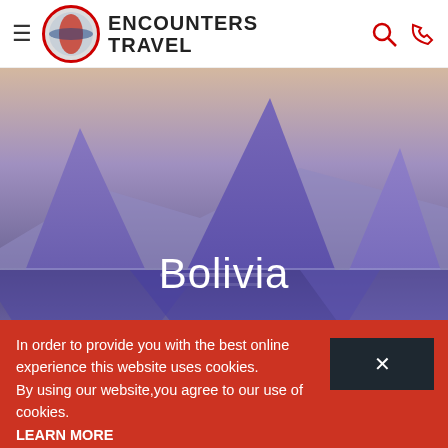ENCOUNTERS TRAVEL
[Figure (photo): Hero image of Bolivia - purple/blue mountain peaks reflected in a salt flat, with warm sunset sky in the background]
Bolivia
Coronavirus update: Safer Encounters scheme
In order to provide you with the best online experience this website uses cookies. By using our website,you agree to our use of cookies. LEARN MORE
Bolivia Tours